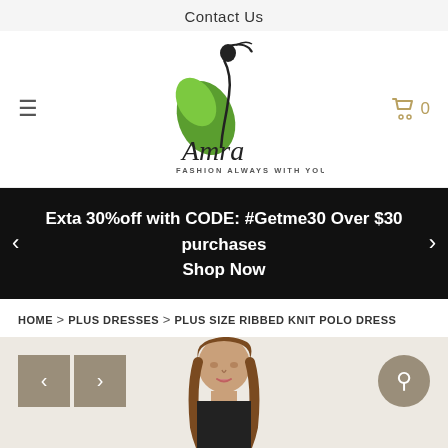Contact Us
[Figure (logo): Amra Fashion logo — stylized female silhouette with green leaves, cursive 'Amra' text, tagline 'FASHION ALWAYS WITH YOU']
Exta 30%off with CODE: #Getme30 Over $30 purchases
Shop Now
HOME > PLUS DRESSES > PLUS SIZE RIBBED KNIT POLO DRESS
[Figure (photo): Woman model wearing a black ribbed knit polo dress, shown from upper body, with long brown hair]